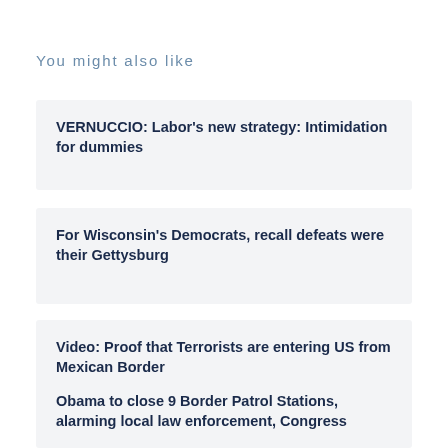You might also like
VERNUCCIO: Labor’s new strategy: Intimidation for dummies
For Wisconsin’s Democrats, recall defeats were their Gettysburg
Video: Proof that Terrorists are entering US from Mexican Border
Obama to close 9 Border Patrol Stations, alarming local law enforcement, Congress